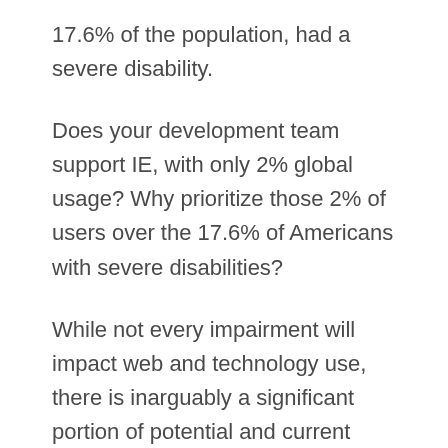17.6% of the population, had a severe disability.
Does your development team support IE, with only 2% global usage? Why prioritize those 2% of users over the 17.6% of Americans with severe disabilities?
While not every impairment will impact web and technology use, there is inarguably a significant portion of potential and current users that may be disabled by our choices as web designers